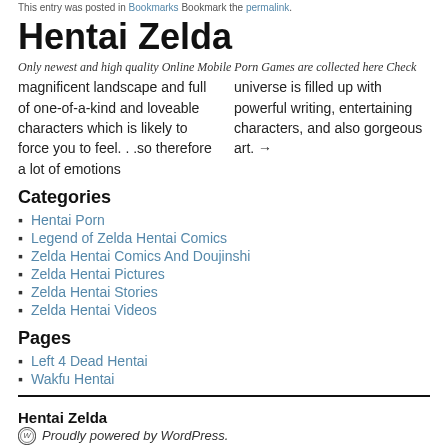This entry was posted in [Bookmarks] Bookmark the permalink.
Hentai Zelda
Only newest and high quality Online Mobile Porn Games are collected here Check
magnificent landscape and full of one-of-a-kind and loveable characters which is likely to force you to feel. . .so therefore a lot of emotions
universe is filled up with powerful writing, entertaining characters, and also gorgeous art. →
Categories
Hentai Porn
Legend of Zelda Hentai Comics
Zelda Hentai Comics And Doujinshi
Zelda Hentai Pictures
Zelda Hentai Stories
Zelda Hentai Videos
Pages
Left 4 Dead Hentai
Wakfu Hentai
Hentai Zelda — Proudly powered by WordPress.